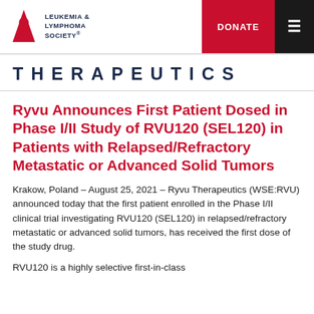Leukemia & Lymphoma Society — DONATE [menu]
THERAPEUTICS
Ryvu Announces First Patient Dosed in Phase I/II Study of RVU120 (SEL120) in Patients with Relapsed/Refractory Metastatic or Advanced Solid Tumors
Krakow, Poland – August 25, 2021 – Ryvu Therapeutics (WSE:RVU) announced today that the first patient enrolled in the Phase I/II clinical trial investigating RVU120 (SEL120) in relapsed/refractory metastatic or advanced solid tumors, has received the first dose of the study drug.
RVU120 is a highly selective first-in-class